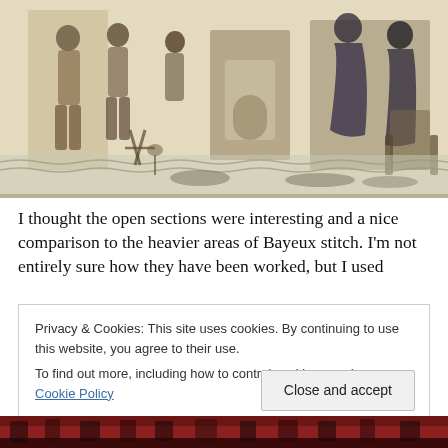[Figure (photo): A section of the Bayeux Tapestry showing medieval figures in embroidery, with open unworked areas visible, and boats in the lower border.]
I thought the open sections were interesting and a nice comparison to the heavier areas of Bayeux stitch. I'm not entirely sure how they have been worked, but I used
Privacy & Cookies: This site uses cookies. By continuing to use this website, you agree to their use.
To find out more, including how to control cookies, see here: Cookie Policy
[Figure (photo): Bottom strip showing a close-up of red and dark needlework/embroidery fabric.]